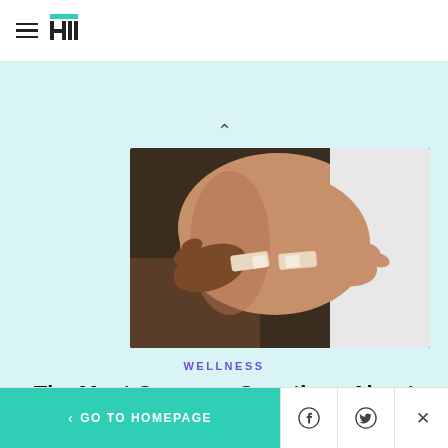HuffPost navigation header with hamburger menu and logo
[Figure (photo): Close-up photo of hands placing a bandage on a person's upper arm after a vaccine injection]
WELLNESS
The Most Common Questions About The Updated COVID Vaccine, Answered
< GO TO HOMEPAGE | Facebook share | Twitter share | Close